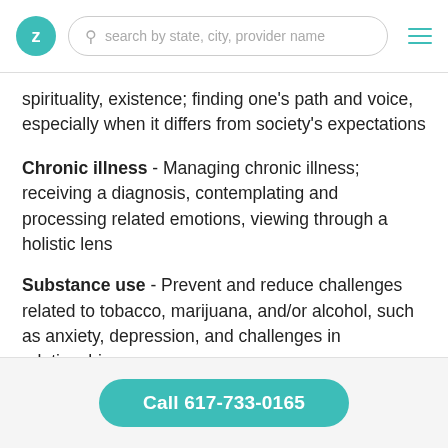Z | search by state, city, provider name
spirituality, existence; finding one’s path and voice, especially when it differs from society's expectations
Chronic illness - Managing chronic illness; receiving a diagnosis, contemplating and processing related emotions, viewing through a holistic lens
Substance use - Prevent and reduce challenges related to tobacco, marijuana, and/or alcohol, such as anxiety, depression, and challenges in relationships
Anxiety - Generalized anxiety, social anxiety, panic attacks
Call 617-733-0165